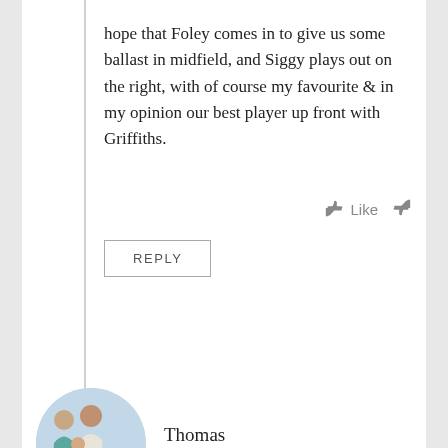hope that Foley comes in to give us some ballast in midfield, and Siggy plays out on the right, with of course my favourite & in my opinion our best player up front with Griffiths.
REPLY
Thomas
SEPTEMBER 14, 2013 AT 7:37 PM
Yep, totally agree mate.
Football is about defending as well as attacking, so in that respect the back four and goalkeeper deserve